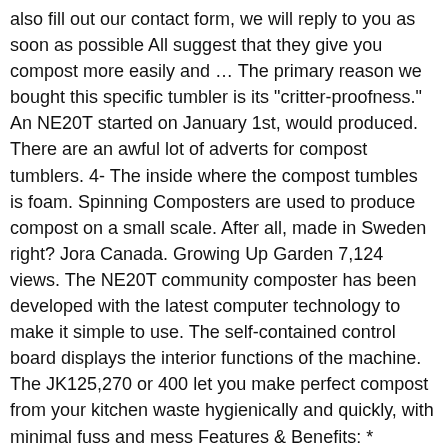also fill out our contact form, we will reply to you as soon as possible All suggest that they give you compost more easily and ... The primary reason we bought this specific tumbler is its "critter-proofness." An NE20T started on January 1st, would produced. There are an awful lot of adverts for compost tumblers. 4- The inside where the compost tumbles is foam. Spinning Composters are used to produce compost on a small scale. After all, made in Sweden right? Jora Canada. Growing Up Garden 7,124 views. The NE20T community composter has been developed with the latest computer technology to make it simple to use. The self-contained control board displays the interior functions of the machine. The JK125,270 or 400 let you make perfect compost from your kitchen waste hygienically and quickly, with minimal fuss and mess Features & Benefits: * Insulated properties allows the temperature inside the tumbler to rise higher than 160o * Dual chambers and dual doors * Capacity of up to 106 gallons, 13-21 gallons a week * Attractive design * High variety of compostable material * Reduces and